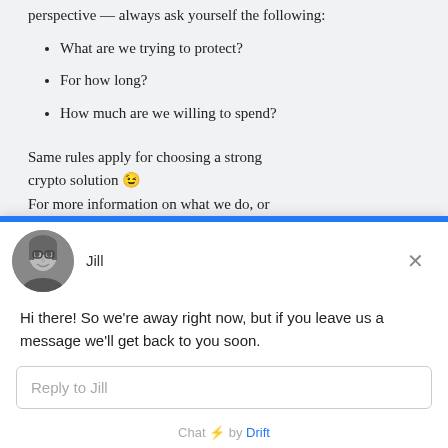perspective — always ask yourself the following:
What are we trying to protect?
For how long?
How much are we willing to spend?
Same rules apply for choosing a strong crypto solution 😉 For more information on what we do, or to talk to us, please get in touch.
[Figure (photo): Circular avatar photo of a woman named Jill, black and white]
Jill
Hi there! So we're away right now, but if you leave us a message we'll get back to you soon.
Reply to Jill
Chat ⚡ by Drift